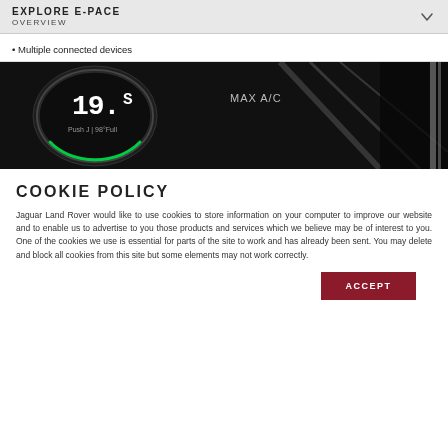EXPLORE E-PACE OVERVIEW
• Multiple connected devices
[Figure (photo): Close-up of Jaguar E-Pace interior dashboard showing climate control dial with 19.5 temperature display and MAX A/C text]
COOKIE POLICY
Jaguar Land Rover would like to use cookies to store information on your computer to improve our website and to enable us to advertise to you those products and services which we believe may be of interest to you. One of the cookies we use is essential for parts of the site to work and has already been sent. You may delete and block all cookies from this site but some elements may not work correctly.
ACCEPT